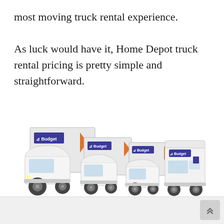most moving truck rental experience.

As luck would have it, Home Depot truck rental pricing is pretty simple and straightforward.
[Figure (photo): Four Budget-branded moving trucks and a cargo van lined up side by side, including a large box truck, two medium box trucks, and a Transit-style cargo van, all white with Budget rental branding.]